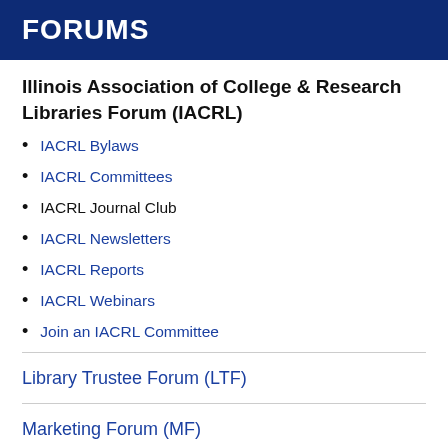FORUMS
Illinois Association of College & Research Libraries Forum (IACRL)
IACRL Bylaws
IACRL Committees
IACRL Journal Club
IACRL Newsletters
IACRL Reports
IACRL Webinars
Join an IACRL Committee
Library Trustee Forum (LTF)
Marketing Forum (MF)
Reaching Forward Forum (RF)